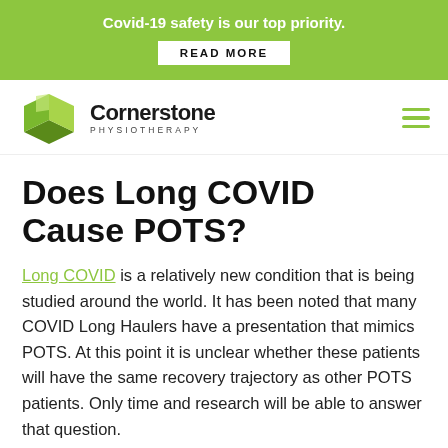Covid-19 safety is our top priority. READ MORE
[Figure (logo): Cornerstone Physiotherapy logo with green geometric shape and company name]
Does Long COVID Cause POTS?
Long COVID is a relatively new condition that is being studied around the world. It has been noted that many COVID Long Haulers have a presentation that mimics POTS. At this point it is unclear whether these patients will have the same recovery trajectory as other POTS patients. Only time and research will be able to answer that question.